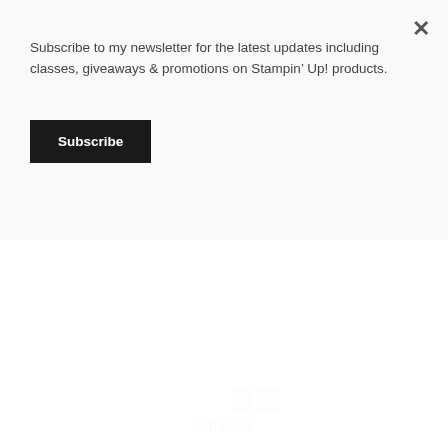Subscribe to my newsletter for the latest updates including classes, giveaways & promotions on Stampin' Up! products.
Subscribe
[Figure (screenshot): Slideshow/image carousel widget with left and right navigation arrow buttons at the bottom right]
- Catalogs -